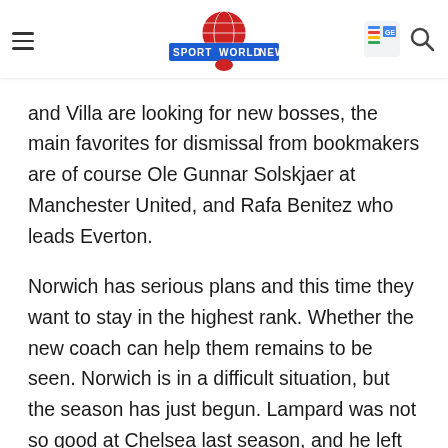Sport World News
and Villa are looking for new bosses, the main favorites for dismissal from bookmakers are of course Ole Gunnar Solskjaer at Manchester United, and Rafa Benitez who leads Everton.
Norwich has serious plans and this time they want to stay in the highest rank. Whether the new coach can help them remains to be seen. Norwich is in a difficult situation, but the season has just begun. Lampard was not so good at Chelsea last season, and he left at the end of January and his team was in the tenth position on the table with almost seven wins, five draws and six defeats.